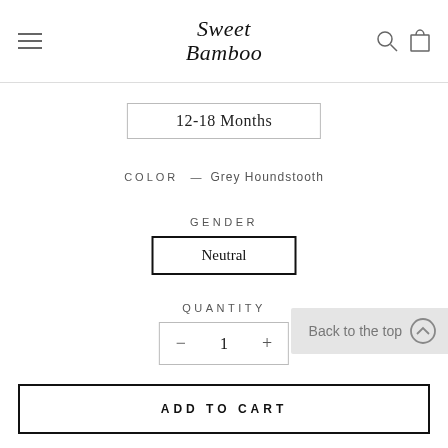Sweet Bamboo
12-18 Months
COLOR — Grey Houndstooth
GENDER
Neutral
QUANTITY
- 1 +
Back to the top
ADD TO CART